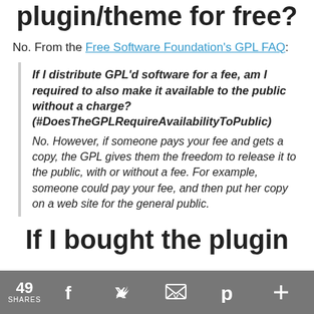plugin/theme for free?
No. From the Free Software Foundation's GPL FAQ:
If I distribute GPL'd software for a fee, am I required to also make it available to the public without a charge? (#DoesTheGPLRequireAvailabilityToPublic)
No. However, if someone pays your fee and gets a copy, the GPL gives them the freedom to release it to the public, with or without a fee. For example, someone could pay your fee, and then put her copy on a web site for the general public.
If I bought the plugin
49 SHARES